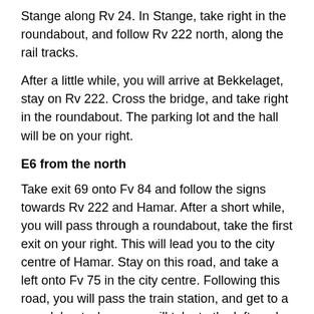Stange along Rv 24. In Stange, take right in the roundabout, and follow Rv 222 north, along the rail tracks.
After a little while, you will arrive at Bekkelaget, stay on Rv 222. Cross the bridge, and take right in the roundabout. The parking lot and the hall will be on your right.
E6 from the north
Take exit 69 onto Fv 84 and follow the signs towards Rv 222 and Hamar. After a short while, you will pass through a roundabout, take the first exit on your right. This will lead you to the city centre of Hamar. Stay on this road, and take a left onto Fv 75 in the city centre. Following this road, you will pass the train station, and get to a roundabout where you will take to the left, and the parking lot and the hall will be on your right.
Follow the instructions from the crew when you arrive at the parking lot.